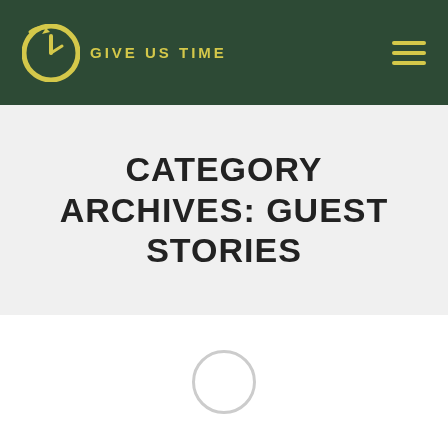Give Us Time
CATEGORY ARCHIVES: GUEST STORIES
[Figure (other): Loading spinner — a light grey circle outline indicating content is loading]